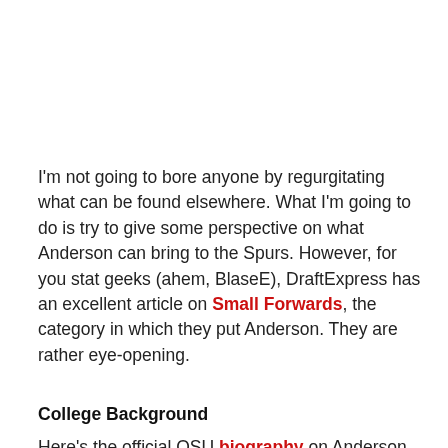I'm not going to bore anyone by regurgitating what can be found elsewhere. What I'm going to do is try to give some perspective on what Anderson can bring to the Spurs. However, for you stat geeks (ahem, BlaseE), DraftExpress has an excellent article on Small Forwards, the category in which they put Anderson. They are rather eye-opening.
College Background
Here's the official OSU biography on Anderson